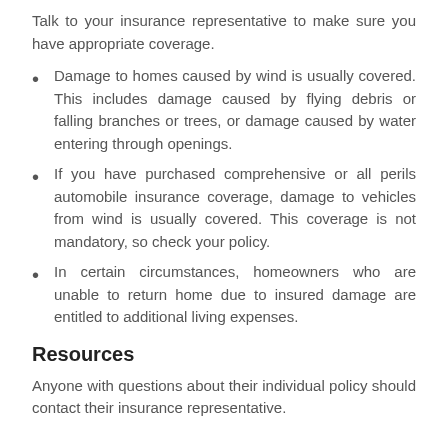Talk to your insurance representative to make sure you have appropriate coverage.
Damage to homes caused by wind is usually covered. This includes damage caused by flying debris or falling branches or trees, or damage caused by water entering through openings.
If you have purchased comprehensive or all perils automobile insurance coverage, damage to vehicles from wind is usually covered. This coverage is not mandatory, so check your policy.
In certain circumstances, homeowners who are unable to return home due to insured damage are entitled to additional living expenses.
Resources
Anyone with questions about their individual policy should contact their insurance representative.